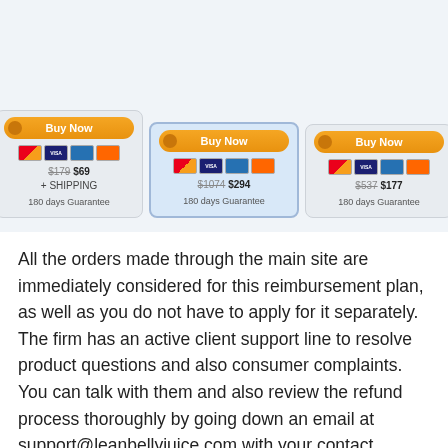[Figure (screenshot): Three product purchase cards with Buy Now buttons, payment icons (Mastercard, Visa, Amex, Discover), crossed-out original prices and sale prices, and 180 days Guarantee text. Left card: $179 $69 + SHIPPING 180 days Guarantee. Middle card: $1074 $294 180 days Guarantee. Right card: $537 $177 180 days Guarantee.]
All the orders made through the main site are immediately considered for this reimbursement plan, as well as you do not have to apply for it separately. The firm has an active client support line to resolve product questions and also consumer complaints. You can talk with them and also review the refund process thoroughly by going down an email at support@leanbellyjuice.com with your contact information. Soon a rep from the firm will certainly contact you for aid, and also the money reversal will be finished within a few days.